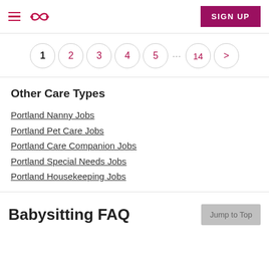Navigation header with hamburger menu, Care.com logo, and SIGN UP button
[Figure (other): Pagination control showing page circles: 1 (active), 2, 3, 4, 5, ..., 14, >]
Other Care Types
Portland Nanny Jobs
Portland Pet Care Jobs
Portland Care Companion Jobs
Portland Special Needs Jobs
Portland Housekeeping Jobs
Babysitting FAQ